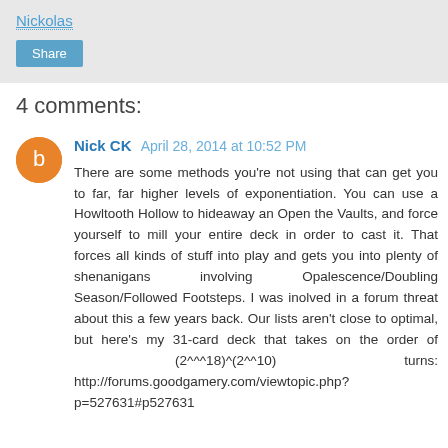Nickolas
Share
4 comments:
Nick CK  April 28, 2014 at 10:52 PM
There are some methods you're not using that can get you to far, far higher levels of exponentiation. You can use a Howltooth Hollow to hideaway an Open the Vaults, and force yourself to mill your entire deck in order to cast it. That forces all kinds of stuff into play and gets you into plenty of shenanigans involving Opalescence/Doubling Season/Followed Footsteps. I was inolved in a forum threat about this a few years back. Our lists aren't close to optimal, but here's my 31-card deck that takes on the order of (2^^^18)^(2^^10) turns: http://forums.goodgamery.com/viewtopic.php?p=527631#p527631